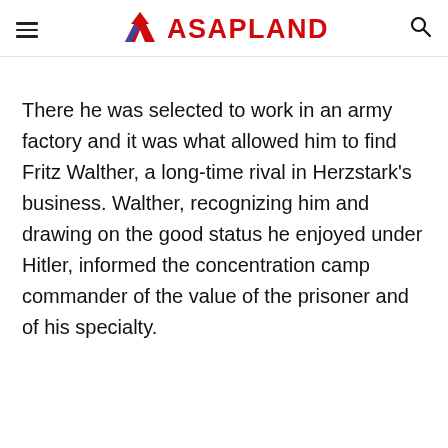ASAPLAND
There he was selected to work in an army factory and it was what allowed him to find Fritz Walther, a long-time rival in Herzstark’s business. Walther, recognizing him and drawing on the good status he enjoyed under Hitler, informed the concentration camp commander of the value of the prisoner and of his specialty.